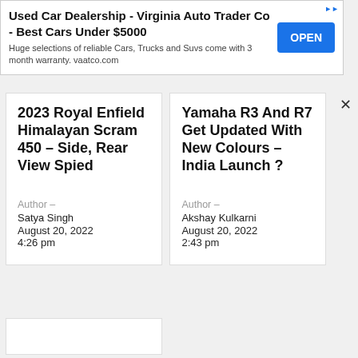[Figure (other): Advertisement banner for Used Car Dealership - Virginia Auto Trader Co with OPEN button]
2023 Royal Enfield Himalayan Scram 450 – Side, Rear View Spied
Author –
Satya Singh
August 20, 2022
4:26 pm
Yamaha R3 And R7 Get Updated With New Colours – India Launch ?
Author –
Akshay Kulkarni
August 20, 2022
2:43 pm